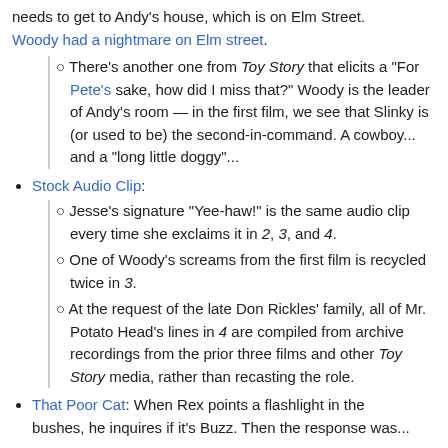needs to get to Andy's house, which is on Elm Street. Woody had a nightmare on Elm street.
There's another one from Toy Story that elicits a "For Pete's sake, how did I miss that?" Woody is the leader of Andy's room — in the first film, we see that Slinky is (or used to be) the second-in-command. A cowboy... and a "long little doggy"...
Stock Audio Clip:
Jesse's signature "Yee-haw!" is the same audio clip every time she exclaims it in 2, 3, and 4.
One of Woody's screams from the first film is recycled twice in 3.
At the request of the late Don Rickles' family, all of Mr. Potato Head's lines in 4 are compiled from archive recordings from the prior three films and other Toy Story media, rather than recasting the role.
That Poor Cat: When Rex points a flashlight in the bushes, he inquires if it's Buzz. Then the response was...